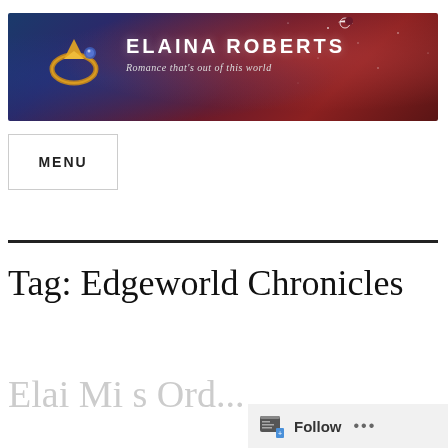[Figure (illustration): Elaina Roberts blog banner with dark space/sci-fi background in reds and blues, decorative rings/jewelry graphic on left, 'ELAINA ROBERTS' in large white bold letters, subtitle 'Romance that's out of this world' in italic]
MENU
Tag: Edgeworld Chronicles
Elai Mi s Ord...